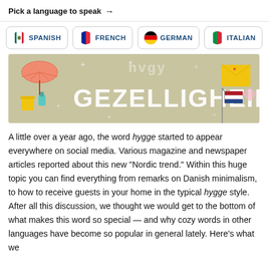Pick a language to speak →
SPANISH
FRENCH
GERMAN
ITALIAN
[Figure (photo): Illustrated banner with the word GEZELLIGHEID in large white letters on a beige/tan background with festive decorative elements including an umbrella, envelope, flag, and sparkles]
A little over a year ago, the word hygge started to appear everywhere on social media. Various magazine and newspaper articles reported about this new "Nordic trend." Within this huge topic you can find everything from remarks on Danish minimalism, to how to receive guests in your home in the typical hygge style. After all this discussion, we thought we would get to the bottom of what makes this word so special — and why cozy words in other languages have become so popular in general lately. Here's what we